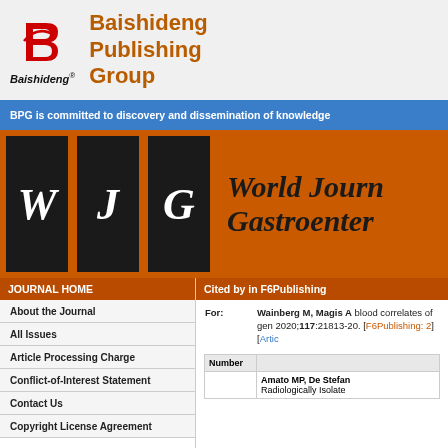[Figure (logo): Baishideng Publishing Group logo with stylized B letter in red and italic script text]
Baishideng Publishing Group
BPG is committed to discovery and dissemination of knowledge
[Figure (logo): World Journal of Gastroenterology (WJG) banner with large italic letters W J G on dark squares and journal title]
JOURNAL HOME
About the Journal
All Issues
Article Processing Charge
Conflict-of-Interest Statement
Contact Us
Copyright License Agreement
Cited by in F6Publishing
For: Wainberg M, Magis A blood correlates of gen 2020;117:21813-20. [F6Publishing: 2] [Artic
| Number |  |
| --- | --- |
|  | Amato MP, De Stefan Radiologically Isolate |